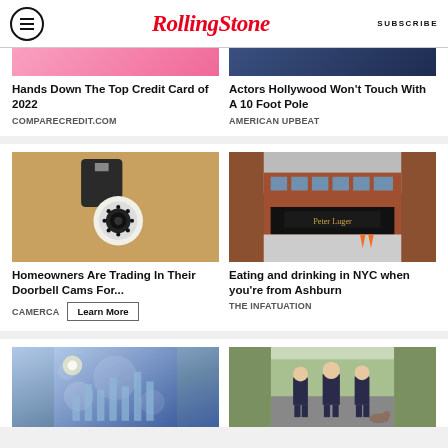Rolling Stone | SUBSCRIBE
[Figure (photo): Cropped image pink/colorful top portion]
[Figure (photo): Cropped image blue/tattoo top portion]
Hands Down The Top Credit Card of 2022
COMPARECREDIT.COM
Actors Hollywood Won't Touch With A 10 Foot Pole
AMERICAN UPBEAT
[Figure (photo): Security camera mounted on wall]
[Figure (photo): Peter Luger steakhouse exterior, brick building]
Homeowners Are Trading In Their Doorbell Cams For...
CAMERCA
Eating and drinking in NYC when you're from Ashburn
THE INFATUATION
[Figure (photo): Financial/stock market bokeh background]
[Figure (photo): Three police officers standing outdoors]